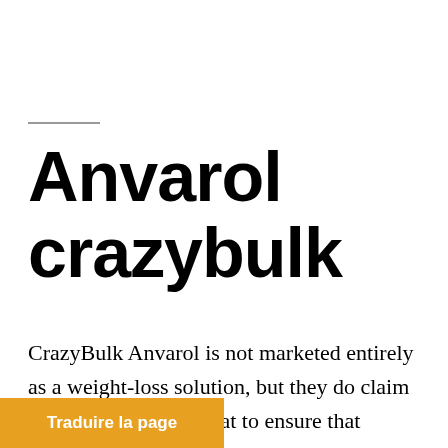Anvarol crazybulk
CrazyBulk Anvarol is not marketed entirely as a weight-loss solution, but they do claim that it will help burn fat to ensure that …in that lean cut look they